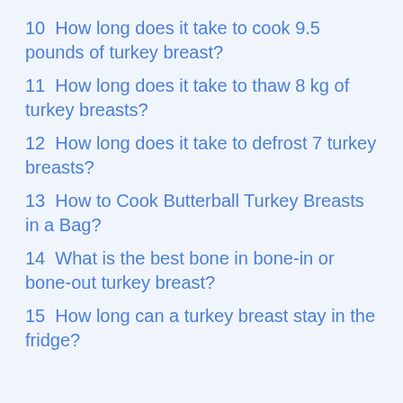10  How long does it take to cook 9.5 pounds of turkey breast?
11  How long does it take to thaw 8 kg of turkey breasts?
12  How long does it take to defrost 7 turkey breasts?
13  How to Cook Butterball Turkey Breasts in a Bag?
14  What is the best bone in bone-in or bone-out turkey breast?
15  How long can a turkey breast stay in the fridge?